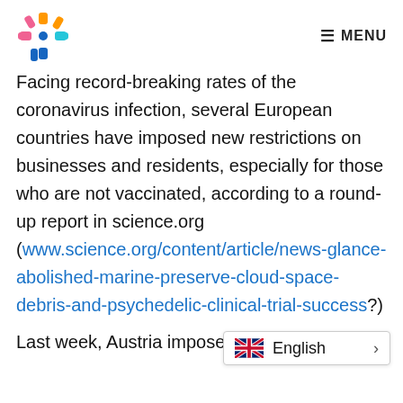MENU
Facing record-breaking rates of the coronavirus infection, several European countries have imposed new restrictions on businesses and residents, especially for those who are not vaccinated, according to a round-up report in science.org (www.science.org/content/article/news-glance-abolished-marine-preserve-cloud-space-debris-and-psychedelic-clinical-trial-success?)
Last week, Austria imposed